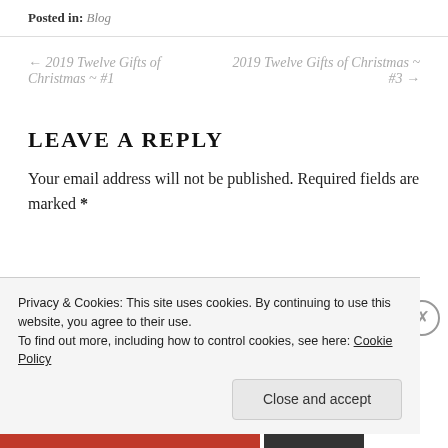Posted in: Blog
← 2019 Twelve Gifts of Christmas ~ #1
2019 Twelve Gifts of Christmas ~ #3 →
LEAVE A REPLY
Your email address will not be published. Required fields are marked *
Privacy & Cookies: This site uses cookies. By continuing to use this website, you agree to their use. To find out more, including how to control cookies, see here: Cookie Policy
Close and accept